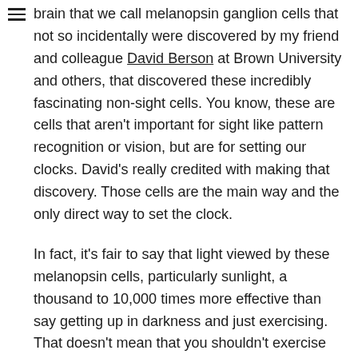brain that we call melanopsin ganglion cells that not so incidentally were discovered by my friend and colleague David Berson at Brown University and others, that discovered these incredibly fascinating non-sight cells. You know, these are cells that aren't important for sight like pattern recognition or vision, but are for setting our clocks. David's really credited with making that discovery. Those cells are the main way and the only direct way to set the clock.
In fact, it's fair to say that light viewed by these melanopsin cells, particularly sunlight, a thousand to 10,000 times more effective than say getting up in darkness and just exercising. That doesn't mean that you shouldn't exercise early in the day in darkness if that's what you like to do. It will have somewhat an effect on raising your wakefulness early in the day and setting these rhythms.